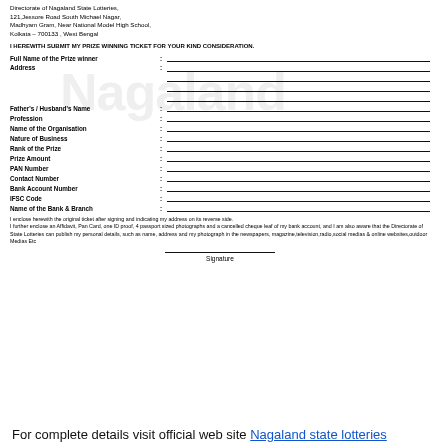Directorate of Nagaland State Lotteries,
121,Jessore Road South Michael Nagar,
Madhyam Gram, Near National Model High School,
Kolkata – 700133 , West Bengal
I HEREWITH SUBMIT MY PRIZE WINNING TICKET FOR YOUR KIND CONSIDERATION.
Full Name of the Prize winner
Address
Father's / Husband's Name
Profession
Name of the Organisation
Nature of Business
Rank of the Prize
Prize Amount
PAN Number
Contact Number
Bank Account Number
IFSC Code
Name of the Bank & Branch
I enclose herewith the original ticket after signing and indicating my address on its reverse side.
I further enclose an Affidavit, Pan Card, one ID proof, 4 passport sized photographs and a cancelled cheque leaf of my bank account, and I am also aware that the Directorate of State Lotteries can publish my personal details, such as name, address and my photograph in the newspapers, magazine,television,radio,social medias & online websites,outdoor Medias Etc
Signature
For complete details visit official web site Nagaland state lotteries